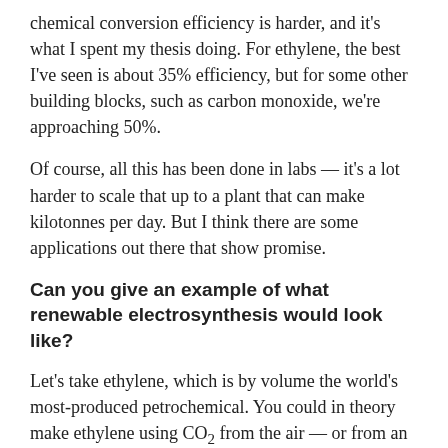chemical conversion efficiency is harder, and it's what I spent my thesis doing. For ethylene, the best I've seen is about 35% efficiency, but for some other building blocks, such as carbon monoxide, we're approaching 50%.
Of course, all this has been done in labs — it's a lot harder to scale that up to a plant that can make kilotonnes per day. But I think there are some applications out there that show promise.
Can you give an example of what renewable electrosynthesis would look like?
Let's take ethylene, which is by volume the world's most-produced petrochemical. You could in theory make ethylene using CO₂ from the air — or from an exhaust pipe — using renewable electricity and the right catalyst. You could sell the ethylene to a plastic manufacturer, who would make it into plastic bags or lawn chairs or whatever.